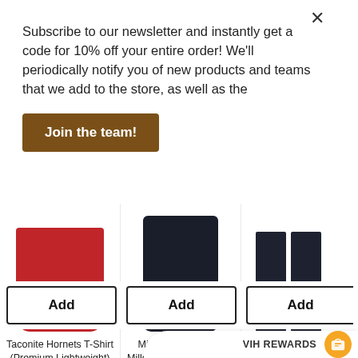Subscribe to our newsletter and instantly get a code for 10% off your entire order! We'll periodically notify you of new products and teams that we add to the store, as well as the
Join the team!
[Figure (photo): Red Taconite Hornets t-shirt product photo]
Taconite Hornets T-Shirt (Premium Lightweight)
$29.99 USD
[Figure (photo): Dark navy Minneapolis Mighty Millers t-shirt product photo]
Minneapolis Mighty Millers T-Shirt (Premium Lightweight)
$29.99 USD
[Figure (photo): Dark Minneapolis Mighty Millers hoodie product photo (partially cropped)]
Minneapolis Mig... Hoodie (Pre...
$49.99 U...
Add
Add
Add
VIH REWARDS